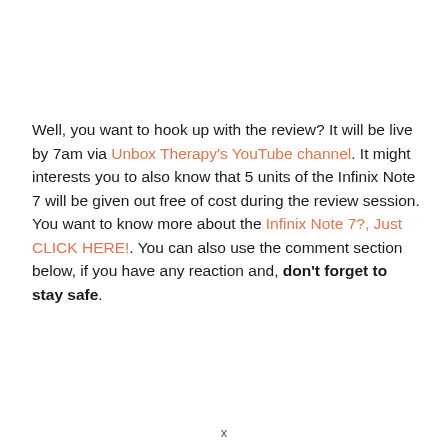Well, you want to hook up with the review? It will be live by 7am via Unbox Therapy's YouTube channel. It might interests you to also know that 5 units of the Infinix Note 7 will be given out free of cost during the review session. You want to know more about the Infinix Note 7?, Just CLICK HERE!. You can also use the comment section below, if you have any reaction and, don't forget to stay safe.